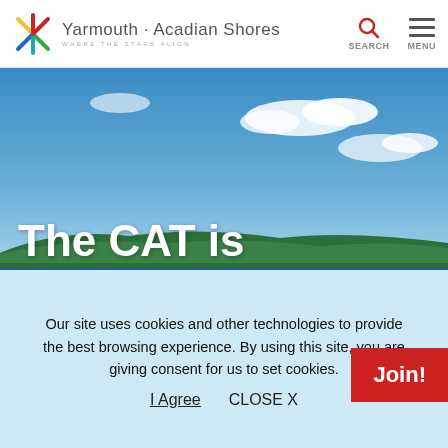Yarmouth · Acadian Shores – WHERE THE STARS ALIGN
[Figure (screenshot): Hero aerial photograph of coastline with blue sky, ocean, and forested shoreline. A boat wake is visible on the water.]
The CAT is Back
When a journey from Maine to Nova Scotia calls the...
Join!
Our site uses cookies and other technologies to provide the best browsing experience. By using this site, you are giving consent for us to set cookies.
I Agree    CLOSE X